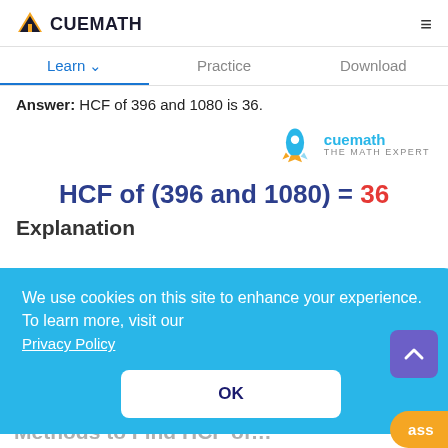CUEMATH
Learn  Practice  Download
Answer: HCF of 396 and 1080 is 36.
[Figure (logo): Cuemath rocket logo with text 'cuemath THE MATH EXPERT']
HCF of (396 and 1080) = 36
We use cookies on this site to enhance your experience. To learn more, visit our Privacy Policy
OK
Methods to Find HCF of 396 and